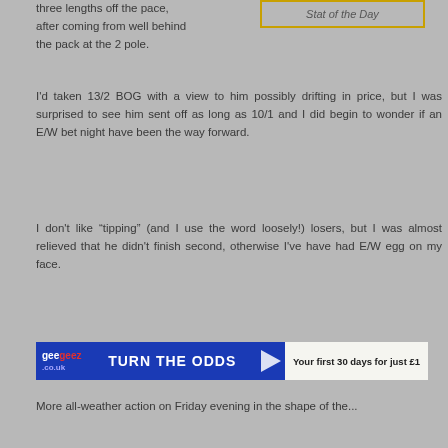three lengths off the pace, after coming from well behind the pack at the 2 pole.
[Figure (other): Stat of the Day box with yellow/gold border]
I'd taken 13/2 BOG with a view to him possibly drifting in price, but I was surprised to see him sent off as long as 10/1 and I did begin to wonder if an E/W bet night have been the way forward.
I don't like “tipping” (and I use the word loosely!) losers, but I was almost relieved that he didn't finish second, otherwise I've have had E/W egg on my face.
[Figure (other): Geegeez.co.uk advertisement banner: TURN THE ODDS - Your first 30 days for just £1]
More all-weather action on Friday evening in the shape of the...